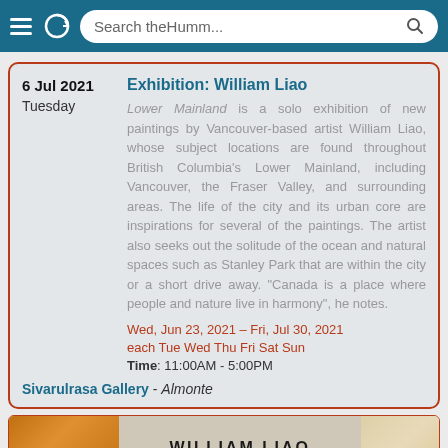Search theHumm...
Exhibition: William Liao
Lower Mainland is a solo exhibition of new paintings by Vancouver-based artist William Liao, whose subject locations are found throughout British Columbia's Lower Mainland, including Vancouver, the Fraser Valley, and surrounding areas. The life of the city and its urban core are inspirations for several of the paintings. The artist also seeks out the solitude of the ocean and natural spaces such as Stanley Park that are within the city or a short drive away. "Canada is a place where people and nature live in harmony", he notes.
Wed, Jun 23, 2021 – Fri, Jul 30, 2021
each Tue Wed Thu Fri Sat Sun
Time: 11:00AM - 5:00PM
Sivarulrasa Gallery - Almonte
[Figure (screenshot): Bottom image strip showing two partial artwork images flanking 'WILLIAM LIAO' text on a beige background]